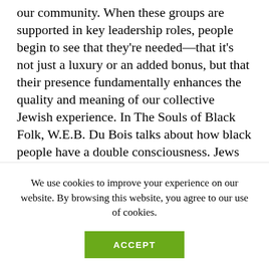our community. When these groups are supported in key leadership roles, people begin to see that they're needed—that it's not just a luxury or an added bonus, but that their presence fundamentally enhances the quality and meaning of our collective Jewish experience. In The Souls of Black Folk, W.E.B. Du Bois talks about how black people have a double consciousness. Jews of color—let alone women rabbis of color—have a multi-dimensional consciousness. Women rabbis of color understand what it's like to be a person in the context of
We use cookies to improve your experience on our website. By browsing this website, you agree to our use of cookies.
ACCEPT